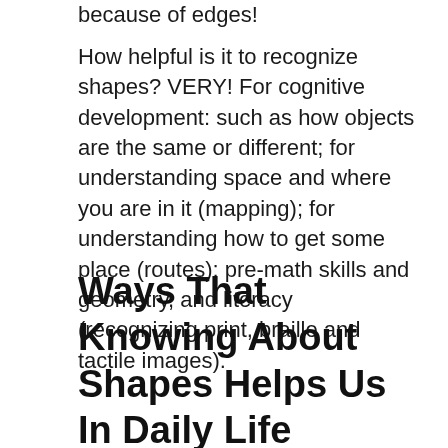because of edges!
How helpful is it to recognize shapes? VERY! For cognitive development: such as how objects are the same or different; for understanding space and where you are in it (mapping); for understanding how to get some place (routes); pre-math skills and geometry, and literacy (recognizing print, braille and tactile images).
Ways That Knowing About Shapes Helps Us In Daily Life